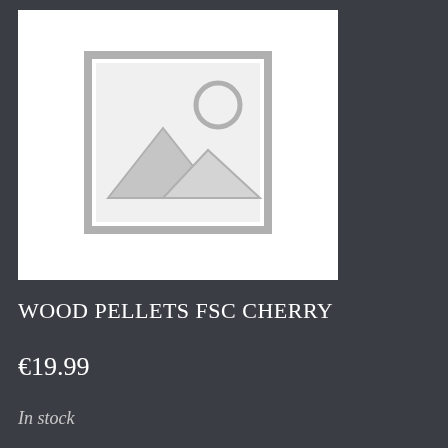[Figure (illustration): Placeholder image icon showing a mountain/landscape scene inside a picture frame outline, grey tones on white background]
WOOD PELLETS FSC CHERRY
€19.99
In stock